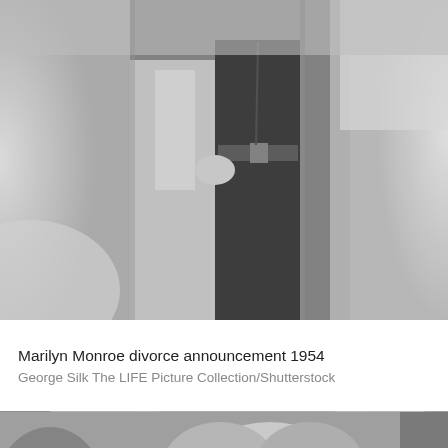[Figure (photo): Black and white photograph of Marilyn Monroe and Joe DiMaggio at divorce announcement 1954, showing couple from torso down, Monroe in dark dress with belt, DiMaggio in light suit]
Marilyn Monroe divorce announcement 1954
George Silk The LIFE Picture Collection/Shutterstock
[Figure (photo): Black and white close-up photograph of Marilyn Monroe's face with curled blonde hair, looking slightly upward, with another person visible on the left edge]